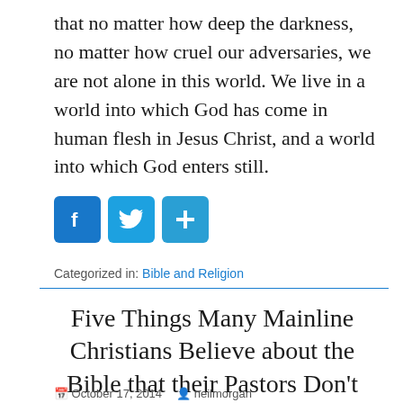that no matter how deep the darkness, no matter how cruel our adversaries, we are not alone in this world. We live in a world into which God has come in human flesh in Jesus Christ, and a world into which God enters still.
[Figure (infographic): Social sharing buttons: Facebook (blue with F), Twitter (blue with bird), and a share button (blue with plus sign)]
Categorized in: Bible and Religion
Five Things Many Mainline Christians Believe about the Bible that their Pastors Don't
October 17, 2014  neilmorgan